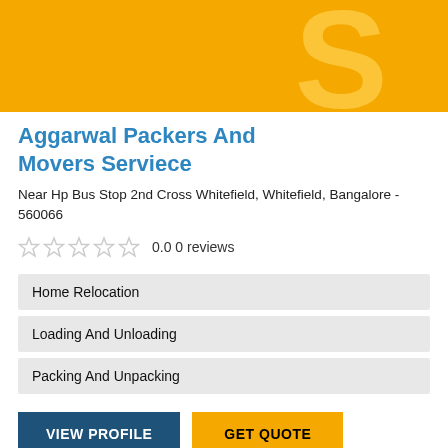[Figure (logo): Yellow banner with large stylized 'S' letter watermark in lighter yellow]
Aggarwal Packers And Movers Serviece
Near Hp Bus Stop 2nd Cross Whitefield, Whitefield, Bangalore - 560066
0.0 0 reviews
Home Relocation
Loading And Unloading
Packing And Unpacking